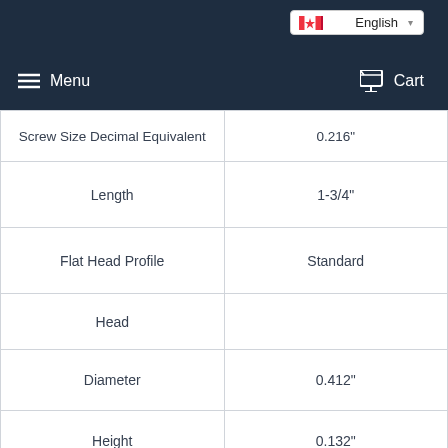Menu | English | Cart
| Property | Value |
| --- | --- |
| Screw Size Decimal Equivalent | 0.216" |
| Length | 1-3/4" |
| Flat Head Profile | Standard |
| Head |  |
| Diameter | 0.412" |
| Height | 0.132" |
| Drive Size | Chat with us |
| Drive Style | Phillips |